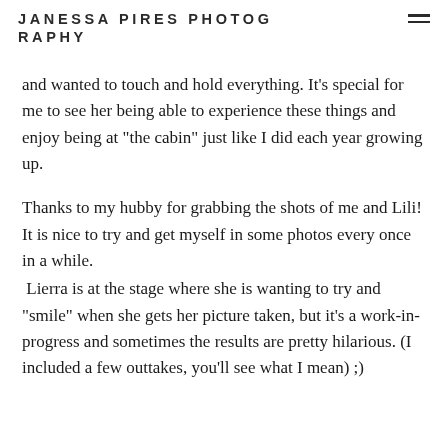JANESSA PIRES PHOTOGRAPHY
and wanted to touch and hold everything. It's special for me to see her being able to experience these things and enjoy being at "the cabin" just like I did each year growing up.
Thanks to my hubby for grabbing the shots of me and Lili! It is nice to try and get myself in some photos every once in a while.
Lierra is at the stage where she is wanting to try and "smile" when she gets her picture taken, but it's a work-in-progress and sometimes the results are pretty hilarious. (I included a few outtakes, you'll see what I mean) ;)